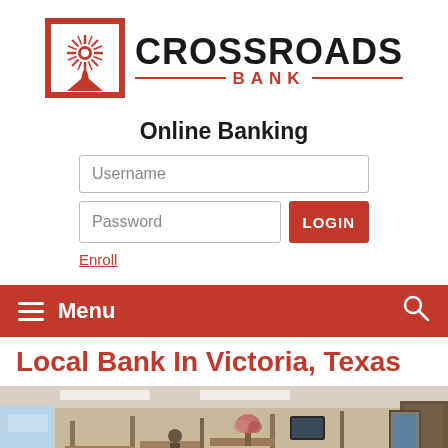[Figure (logo): Crossroads Bank logo: red square with white starburst/flower design and crossroads symbol, beside bold text CROSSROADS BANK with red decorative lines]
Online Banking
[Figure (screenshot): Online banking login form with Username text field, Password text field, red LOGIN button, and red underlined Enroll link]
Menu
Local Bank In Victoria, Texas
[Figure (photo): Interior of bank branch showing teller area with cubicles, fluorescent lighting, windows, and a floral arrangement on counter]